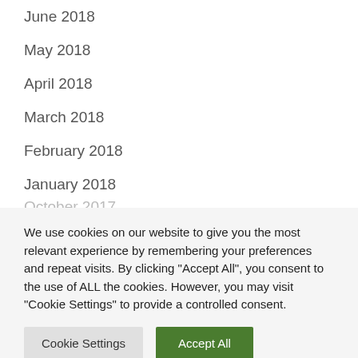June 2018
May 2018
April 2018
March 2018
February 2018
January 2018
December 2017
November 2017
We use cookies on our website to give you the most relevant experience by remembering your preferences and repeat visits. By clicking "Accept All", you consent to the use of ALL the cookies. However, you may visit "Cookie Settings" to provide a controlled consent.
Cookie Settings | Accept All